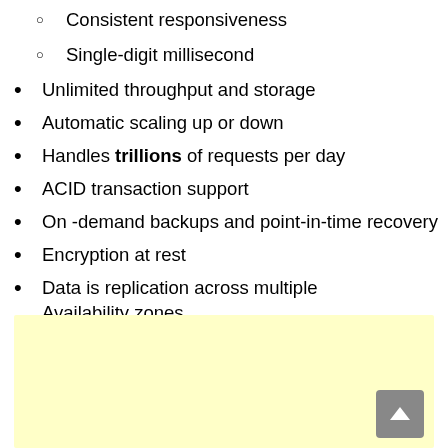Consistent responsiveness
Single-digit millisecond
Unlimited throughput and storage
Automatic scaling up or down
Handles trillions of requests per day
ACID transaction support
On -demand backups and point-in-time recovery
Encryption at rest
Data is replication across multiple Availability zones
Service-level agreement (SLA)up to 99.999%
[Figure (other): Yellow highlighted box area at bottom of page with a scroll-to-top button in the bottom right corner]